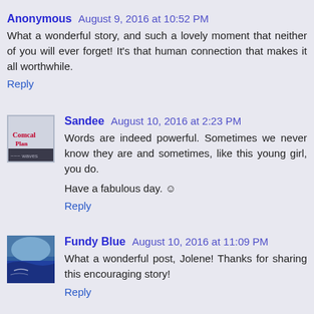Anonymous August 9, 2016 at 10:52 PM
What a wonderful story, and such a lovely moment that neither of you will ever forget! It's that human connection that makes it all worthwhile.
Reply
Sandee August 10, 2016 at 2:23 PM
Words are indeed powerful. Sometimes we never know they are and sometimes, like this young girl, you do.

Have a fabulous day. ☺
Reply
Fundy Blue August 10, 2016 at 11:09 PM
What a wonderful post, Jolene! Thanks for sharing this encouraging story!
Reply